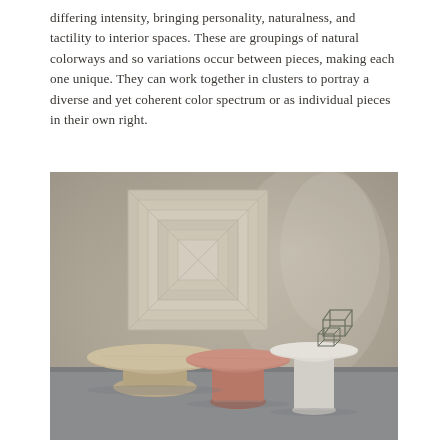differing intensity, bringing personality, naturalness, and tactility to interior spaces. These are groupings of natural colorways and so variations occur between pieces, making each one unique. They can work together in clusters to portray a diverse and yet coherent color spectrum or as individual pieces in their own right.
[Figure (photo): Interior design photograph showing three round marble side tables of varying heights and colors (beige/travertine, terracotta/pink, and white) arranged on a grey concrete floor against a warm taupe wall. A geometric square relief artwork hangs on the wall behind. A small sculptural wire cube object sits on the tallest table.]